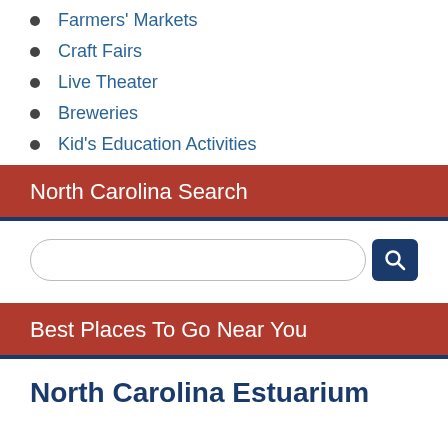Farmers' Markets
Craft Fairs
Live Theater
Breweries
Kid's Education Activities
North Carolina Search
Best Places To Go Near You
North Carolina Estuarium